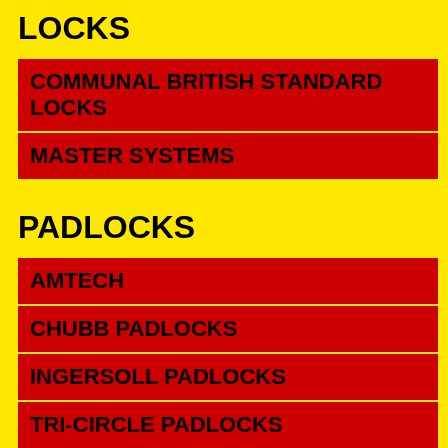LOCKS
COMMUNAL BRITISH STANDARD LOCKS
MASTER SYSTEMS
PADLOCKS
AMTECH
CHUBB PADLOCKS
INGERSOLL PADLOCKS
TRI-CIRCLE PADLOCKS
UNION MM KEYS
UNION MM KEYS
UNION MM KEYS